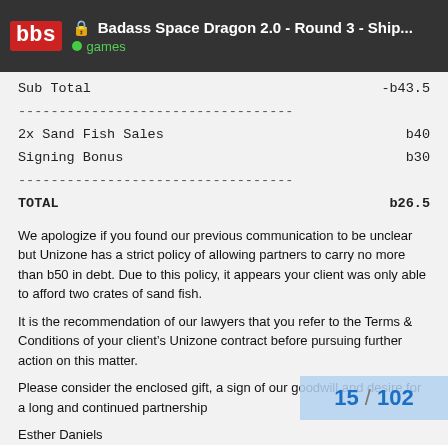Badass Space Dragon 2.0 - Round 3 - Ship... | games
| Sub Total | -b43.5 |
| ----------------------------------- |  |
| 2x Sand Fish Sales | b40 |
| Signing Bonus | b30 |
| ----------------------------------- |  |
| TOTAL | b26.5 |
We apologize if you found our previous communication to be unclear but Unizone has a strict policy of allowing partners to carry no more than b50 in debt. Due to this policy, it appears your client was only able to afford two crates of sand fish.
It is the recommendation of our lawyers that you refer to the Terms & Conditions of your client’s Unizone contract before pursuing further action on this matter.
Please consider the enclosed gift, a sign of our goodwill and desire for a long and continued partnership
Esther Daniels
15 / 102